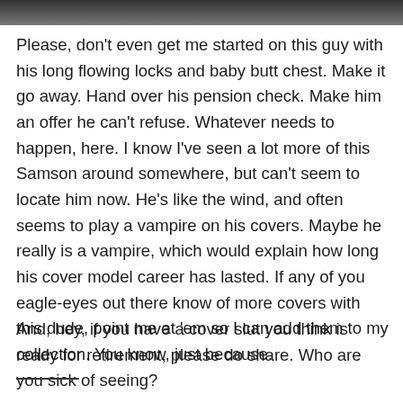[Figure (photo): Partial image of a person at the top of the page, cropped]
Please, don't even get me started on this guy with his long flowing locks and baby butt chest. Make it go away. Hand over his pension check. Make him an offer he can't refuse. Whatever needs to happen, here. I know I've seen a lot more of this Samson around somewhere, but can't seem to locate him now. He's like the wind, and often seems to play a vampire on his covers. Maybe he really is a vampire, which would explain how long his cover model career has lasted. If any of you eagle-eyes out there know of more covers with this dude, point me at 'em so I can add them to my collection. You know, just because.
And, hey, if you have a cover slut you think is ready for retirement, please do share. Who are you sick of seeing?
———